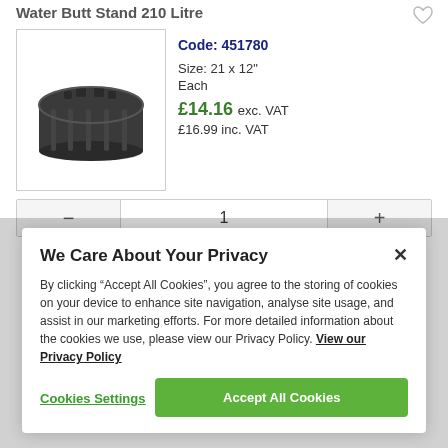Water Butt Stand 210 Litre
[Figure (photo): Black plastic water butt stand, circular shape with ribbed sides and notched top edge, viewed from slight above-front angle.]
Code: 451780
Size: 21 x 12"
Each
£14.16 exc. VAT
£16.99 inc. VAT
1
We Care About Your Privacy
By clicking “Accept All Cookies”, you agree to the storing of cookies on your device to enhance site navigation, analyse site usage, and assist in our marketing efforts. For more detailed information about the cookies we use, please view our Privacy Policy. View our Privacy Policy
Cookies Settings
Accept All Cookies